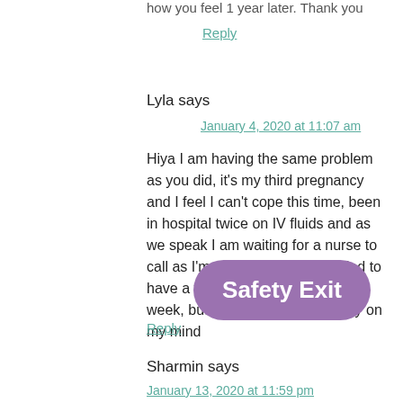how you feel 1 year later. Thank you
Reply
Lyla says
January 4, 2020 at 11:07 am
Hiya I am having the same problem as you did, it's my third pregnancy and I feel I can't cope this time, been in hospital twice on IV fluids and as we speak I am waiting for a nurse to call as I'm going back in. I decided to have a termination which is next week, but it's really started to play on my mind
Reply
Sharmin says
January 13, 2020 at 11:59 pm
Safety Exit